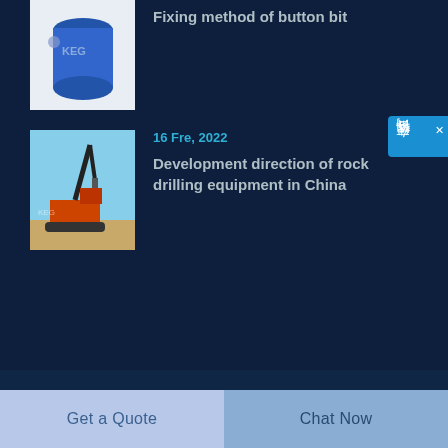[Figure (photo): Partially visible blue cylindrical drilling bit product image with KEG logo]
Fixing method of button bit
[Figure (photo): Orange and black rock drilling rig equipment operating outdoors against blue sky]
16 Fre, 2022
Development direction of rock drilling equipment in China
Contact
info.k@kellegco.com
Mon – Sat 8:00 AM – 6:00 PM